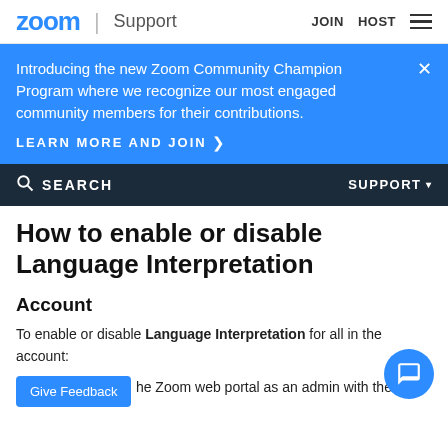zoom | Support    JOIN  HOST
Introducing the new Zoom Community Champion Program where we recognize our most engaged community members for their contributions.
LEARN MORE AND JOIN >
SEARCH    SUPPORT
How to enable or disable Language Interpretation
Account
To enable or disable Language Interpretation for all in the account:
Give Feedback
he Zoom web portal as an admin with the